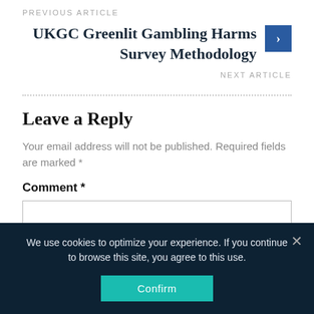PREVIOUS ARTICLE
UKGC Greenlit Gambling Harms Survey Methodology
NEXT ARTICLE
Leave a Reply
Your email address will not be published. Required fields are marked *
Comment *
We use cookies to optimize your experience. If you continue to browse this site, you agree to this use.
Confirm